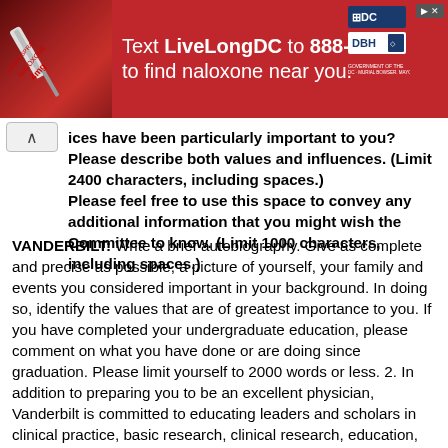[Figure (screenshot): Red advertisement banner: Text LiveLongDC to 888-811 to find naloxone near you. Shows an image of a syringe on the left and DC/DBH logos on the right.]
ices have been particularly important to you? Please describe both values and influences. (Limit 2400 characters, including spaces.) Please feel free to use this space to convey any additional information that you might wish the Committee to know. (Limit 1000 characters, including spaces.)
VANDERBILT: Write a brief autobiography. Give as complete and precise as possible, a picture of yourself, your family and events you considered important in your background. In doing so, identify the values that are of greatest importance to you. If you have completed your undergraduate education, please comment on what you have done or are doing since graduation. Please limit yourself to 2000 words or less. 2. In addition to preparing you to be an excellent physician, Vanderbilt is committed to educating leaders and scholars in clinical practice, basic research, clinical research, education, and health policy. Describe your abilities or experiences that have prepared you to become one of these leaders and scholars.